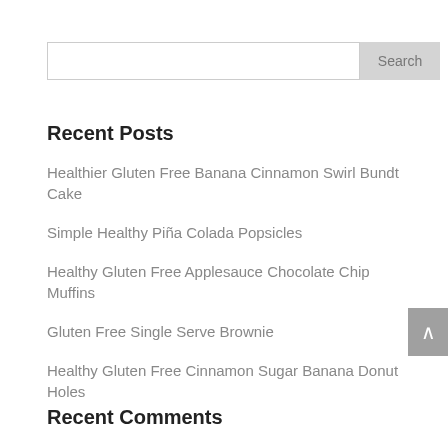Recent Posts
Healthier Gluten Free Banana Cinnamon Swirl Bundt Cake
Simple Healthy Piña Colada Popsicles
Healthy Gluten Free Applesauce Chocolate Chip Muffins
Gluten Free Single Serve Brownie
Healthy Gluten Free Cinnamon Sugar Banana Donut Holes
Recent Comments